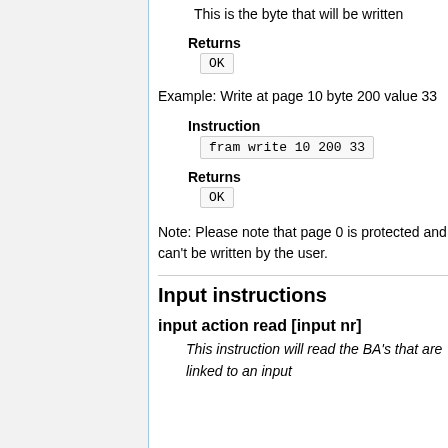This is the byte that will be written
Returns
OK
Example: Write at page 10 byte 200 value 33
Instruction
fram write 10 200 33
Returns
OK
Note: Please note that page 0 is protected and can't be written by the user.
Input instructions
input action read [input nr]
This instruction will read the BA's that are linked to an input